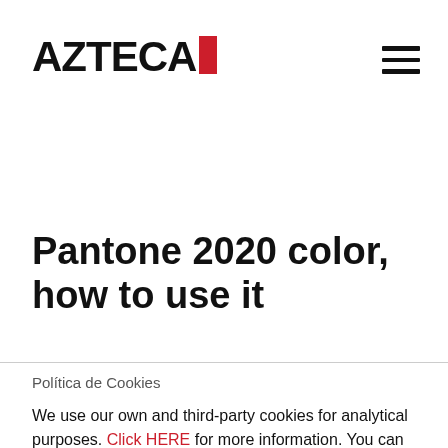AZTECA [logo with red block] [hamburger menu]
Pantone 2020 color, how to use it
Política de Cookies
We use our own and third-party cookies for analytical purposes. Click HERE for more information. You can